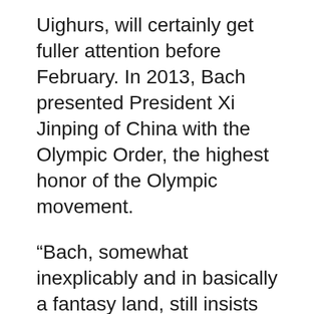Uighurs, will certainly get fuller attention before February. In 2013, Bach presented President Xi Jinping of China with the Olympic Order, the highest honor of the Olympic movement.
“Bach, somewhat inexplicably and in basically a fantasy land, still insists that the Olympics are not political,” Boykoff said. “Where any neutral observer would come along and see the political implications everywhere in the Olympics.”
Despite the see-no-evil approach, host selections are hardly global. Only three Olympics have been held in the Southern Hemisphere — two in Australia and one in Brazil. No Olympics have been held in Africa